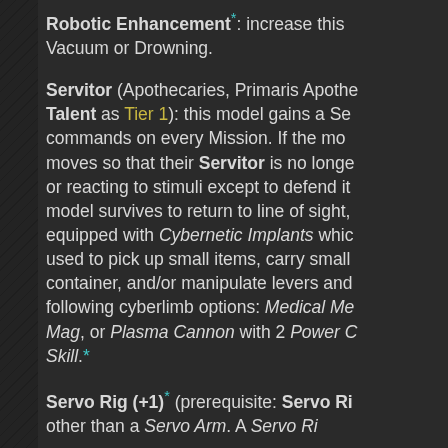Robotic Enhancement*: increase this Vacuum or Drowning.
Servitor (Apothecaries, Primaris Apothecaries, Talent as Tier 1): this model gains a Servitor commands on every Mission. If the model moves so that their Servitor is no longer or reacting to stimuli except to defend it. model survives to return to line of sight, equipped with Cybernetic Implants which used to pick up small items, carry small container, and/or manipulate levers and following cyberlimb options: Medical Me Mag, or Plasma Cannon with 2 Power C Skill.*
Servo Rig (+1)* (prerequisite: Servo Ri other than a Servo Arm. A Servo Ri